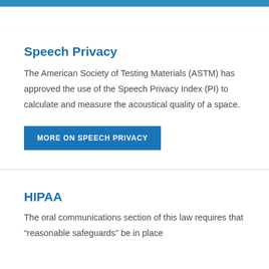Speech Privacy
The American Society of Testing Materials (ASTM) has approved the use of the Speech Privacy Index (PI) to calculate and measure the acoustical quality of a space.
MORE ON SPEECH PRIVACY
HIPAA
The oral communications section of this law requires that “reasonable safeguards” be in place